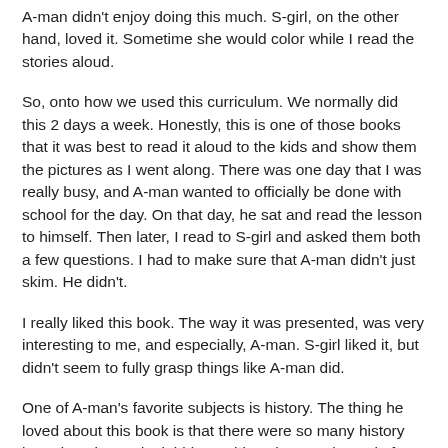A-man didn't enjoy doing this much.  S-girl, on the other hand, loved it.  Sometime she would color while I read the stories aloud.
So, onto how we used this curriculum.  We normally did this 2 days a week.  Honestly, this is one of those books that it was best to read it aloud to the kids and show them the pictures as I went along.  There was one day that I was really busy, and A-man wanted to officially be done with school for the day.  On that day, he sat and read the lesson to himself.  Then later, I read to S-girl and asked them both a few questions.  I had to make sure that A-man didn't just skim.  He didn't.
I really liked this book.  The way it was presented, was very interesting to me, and especially, A-man.  S-girl liked it, but didn't seem to fully grasp things like A-man did.
One of A-man's favorite subjects is history.  The thing he loved about this book is that there were so many history based stories and mini-biographies about real people from history.  I am going to go into quite a bit of detail about the first lesson to give you an idea of the depth and scope of